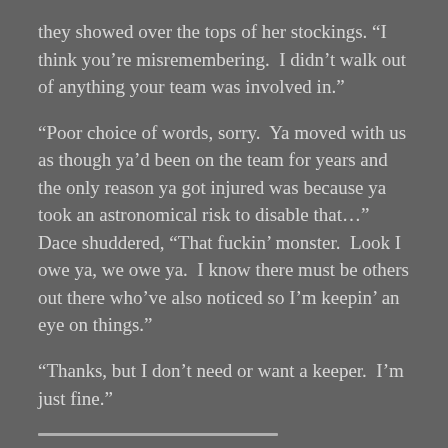they showed over the tops of her stockings. “I think you’re misremembering.  I didn’t walk out of anything your team was involved in.”
“Poor choice of words, sorry.  Ya moved with us as though ya’d been on the team for years and the only reason ya got injured was because ya took an astronomical risk to disable that…” Dace shuddered, “That fuckin’ monster.  Look I owe ya, we owe ya.  I know there must be others out there who’ve also noticed so I’m keepin’ an eye on things.”
“Thanks, but I don’t need or want a keeper.  I’m just fine.”